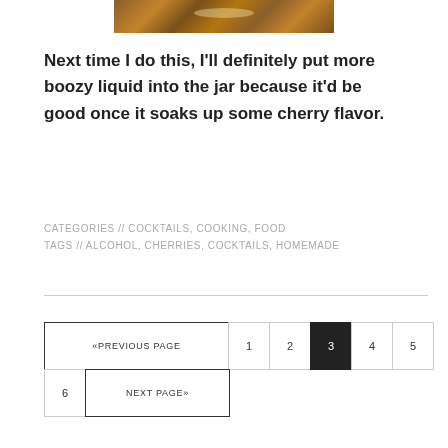[Figure (photo): Close-up photo of wooden surface with grain texture, warm brown tones]
Next time I do this, I'll definitely put more boozy liquid into the jar because it'd be good once it soaks up some cherry flavor.
CATEGORIES // COCKTAILS, COOKING, FOOD
TAGS // ALCOHOL, CHERRIES, COCKTAILS, HOMEMADE
«PREVIOUS PAGE  1  2  3  4  5
6  NEXT PAGE»